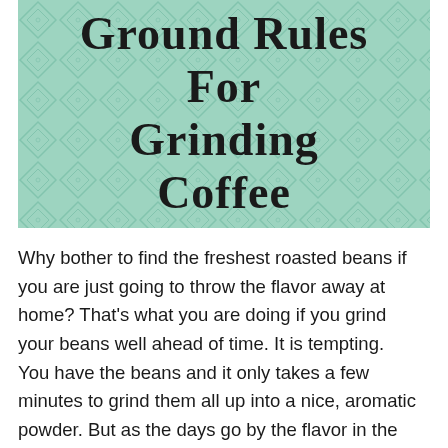[Figure (illustration): Mint green diamond/geometric pattern background with bold handwritten-style title text reading 'Ground Rules For Grinding Coffee']
Why bother to find the freshest roasted beans if you are just going to throw the flavor away at home? That's what you are doing if you grind your beans well ahead of time. It is tempting. You have the beans and it only takes a few minutes to grind them all up into a nice, aromatic powder. But as the days go by the flavor in the cup will begin to fade.